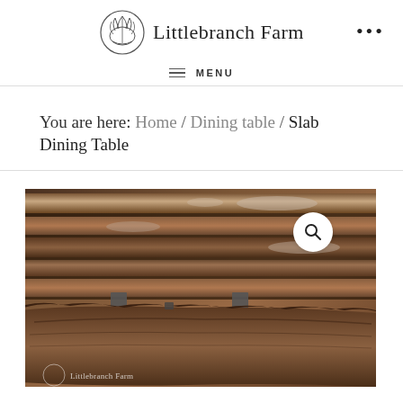Littlebranch Farm
≡ MENU
You are here: Home / Dining table / Slab Dining Table
[Figure (photo): Stacked wood slabs in a lumber yard or workshop, showing rough-cut live edge walnut or hardwood boards stacked in layers. A watermark reading 'Littlebranch Farm' appears at the bottom with a small logo. A magnifying glass/search icon appears in the upper right of the image.]